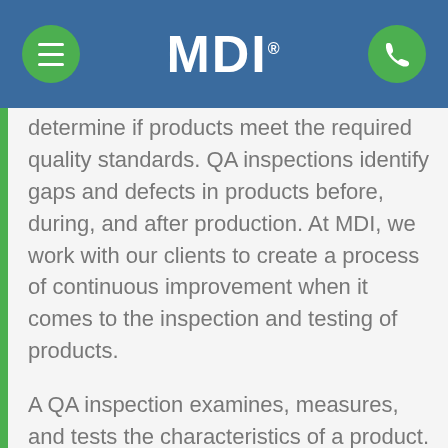MDI
determine if products meet the required quality standards. QA inspections identify gaps and defects in products before, during, and after production. At MDI, we work with our clients to create a process of continuous improvement when it comes to the inspection and testing of products.
A QA inspection examines, measures, and tests the characteristics of a product. The results are then compared to the client's specific requirements to see if the product met the stipulated standards. Using a pre-established checklist, our inspectors will evaluate products before, during, and after